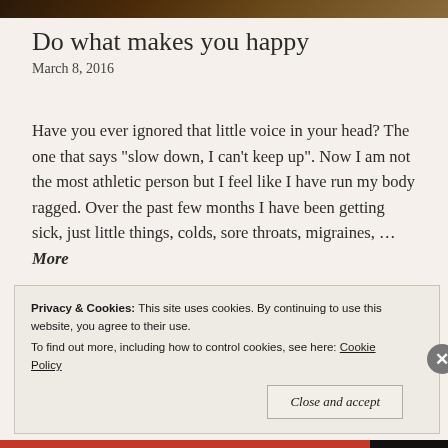[Figure (photo): Partial photo strip at top of page, dark outdoor/nature scene]
Do what makes you happy
March 8, 2016
Have you ever ignored that little voice in your head? The one that says “slow down, I can’t keep up”. Now I am not the most athletic person but I feel like I have run my body ragged. Over the past few months I have been getting sick, just little things, colds, sore throats, migraines, ... More
[Figure (other): Comment bubble icon and chain/link icon]
Privacy & Cookies: This site uses cookies. By continuing to use this website, you agree to their use.
To find out more, including how to control cookies, see here: Cookie Policy
Close and accept